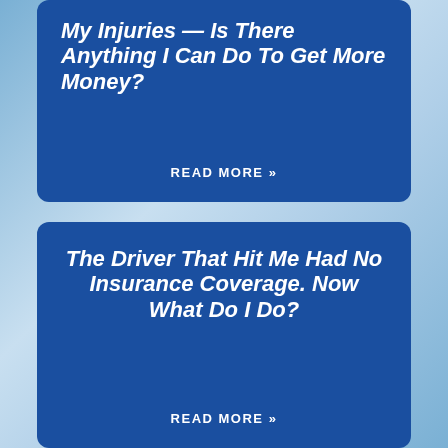My Injuries — Is There Anything I Can Do To Get More Money?
READ MORE »
The Driver That Hit Me Had No Insurance Coverage. Now What Do I Do?
READ MORE »